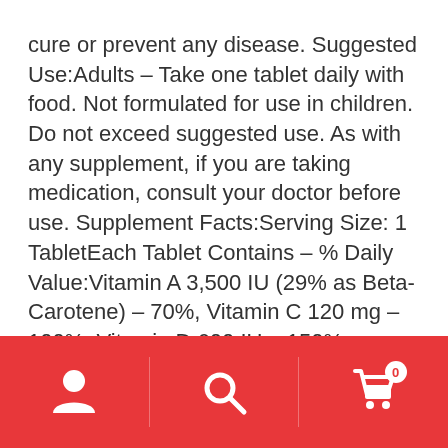cure or prevent any disease. Suggested Use:Adults – Take one tablet daily with food. Not formulated for use in children. Do not exceed suggested use. As with any supplement, if you are taking medication, consult your doctor before use. Supplement Facts:Serving Size: 1 TabletEach Tablet Contains – % Daily Value:Vitamin A 3,500 IU (29% as Beta-Carotene) – 70%, Vitamin C 120 mg – 100%, Vitamin D 600 IU – 150%, Vitamin E 60 IU – 200%, Vitamin K 60 mcg – 75%, Thiamin 1.5 mg – 100%, Riboflavin 1.7 mg – 100%, Niacin 20 mg – 100%, Vitamin B6 6 mg – 300%, Folic Acid 300 mcg – 75%, Vitamin B12 100 mcg – 1667%, Biotin 30 mcg – 10%, Pantothenic Acid 10 mg – 100%, Calcium 250 mg – 25%, Phosphorus 20 mg – 2%,
[Figure (infographic): Red bottom navigation bar with three icons: person/user icon on the left, search/magnifying glass icon in the center, and shopping cart icon with a badge showing '0' on the right. Vertical dividers separate the icons.]